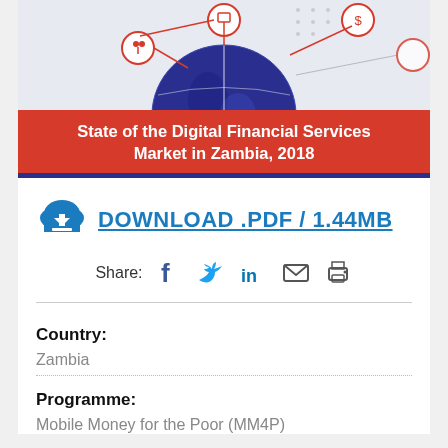[Figure (illustration): Cover image of report showing a globe with digital financial services icons connected by lines, with a red banner reading 'State of the Digital Financial Services Market in Zambia, 2018' and a blue bar below.]
DOWNLOAD .PDF / 1.44MB
Share:
Country:
Zambia
Programme:
Mobile Money for the Poor (MM4P)